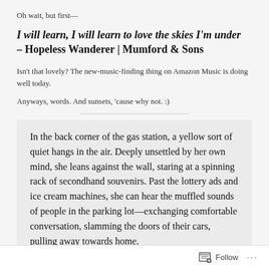Oh wait, but first—
I will learn, I will learn to love the skies I'm under – Hopeless Wanderer | Mumford & Sons
Isn't that lovely? The new-music-finding thing on Amazon Music is doing well today.
Anyways, words. And sunsets, 'cause why not. :)
In the back corner of the gas station, a yellow sort of quiet hangs in the air. Deeply unsettled by her own mind, she leans against the wall, staring at a spinning rack of secondhand souvenirs. Past the lottery ads and ice cream machines, she can hear the muffled sounds of people in the parking lot—exchanging comfortable conversation, slamming the doors of their cars, pulling away towards home.
Follow ...